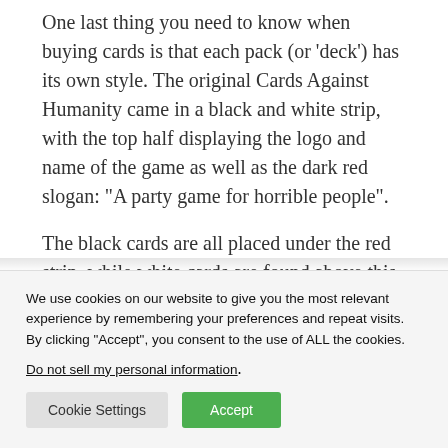One last thing you need to know when buying cards is that each pack (or 'deck') has its own style. The original Cards Against Humanity came in a black and white strip, with the top half displaying the logo and name of the game as well as the dark red slogan: “A party game for horrible people”.
The black cards are all placed under the red strip, while white cards are found above this. There is also an expansion symbol on each card
We use cookies on our website to give you the most relevant experience by remembering your preferences and repeat visits. By clicking “Accept”, you consent to the use of ALL the cookies.
Do not sell my personal information.
Cookie Settings
Accept